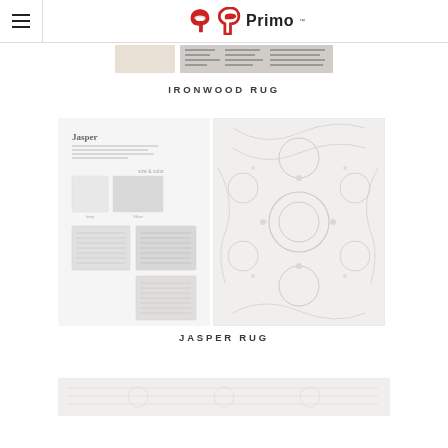Primo logo and hamburger menu
[Figure (photo): Ironwood rug catalog page thumbnail showing beige and patterned rug swatches]
IRONWOOD RUG
[Figure (photo): Jasper rug catalog page showing rug swatches and product details]
[Figure (photo): Jasper rug main product image showing white/grey ornate patterned rug]
JASPER RUG
[Figure (photo): Bottom partial rug catalog image, partially cropped]